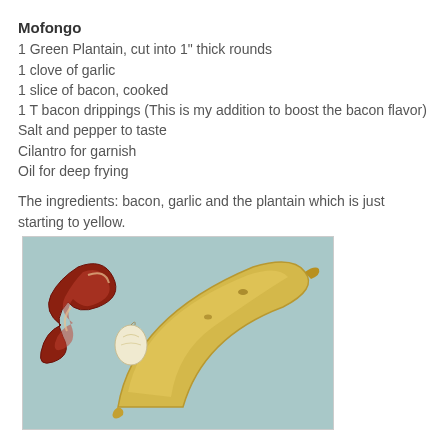Mofongo
1 Green Plantain, cut into 1" thick rounds
1 clove of garlic
1 slice of bacon, cooked
1 T bacon drippings (This is my addition to boost the bacon flavor)
Salt and pepper to taste
Cilantro for garnish
Oil for deep frying
The ingredients: bacon, garlic and the plantain which is just starting to yellow.
[Figure (photo): Photo of mofongo ingredients: a cooked strip of bacon, a clove of garlic, and a green/yellow plantain on a light blue background.]